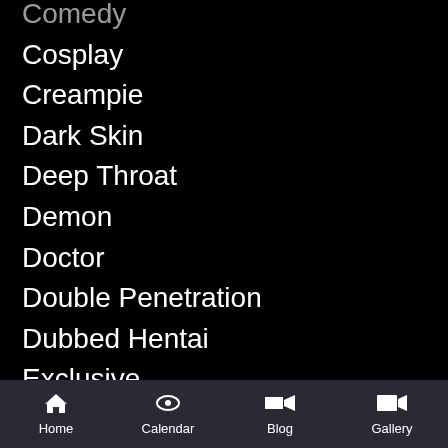Comedy
Cosplay
Creampie
Dark Skin
Deep Throat
Demon
Doctor
Double Penetration
Dubbed Hentai
Exclusive
Facial
Fantasy
Femdom
Filmed
Fingering
Fisting
Footjob
Home  Calendar  Blog  Gallery